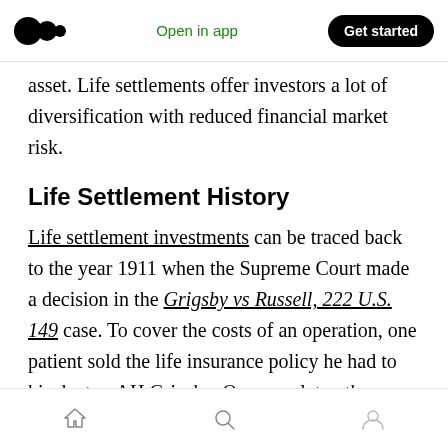Medium logo | Open in app | Get started
asset. Life settlements offer investors a lot of diversification with reduced financial market risk.
Life Settlement History
Life settlement investments can be traced back to the year 1911 when the Supreme Court made a decision in the Grigsby vs Russell, 222 U.S. 149 case. To cover the costs of an operation, one patient sold the life insurance policy he had to his doctor, AH Grigsby. One year later, the patient passed away.
Home | Search | Profile